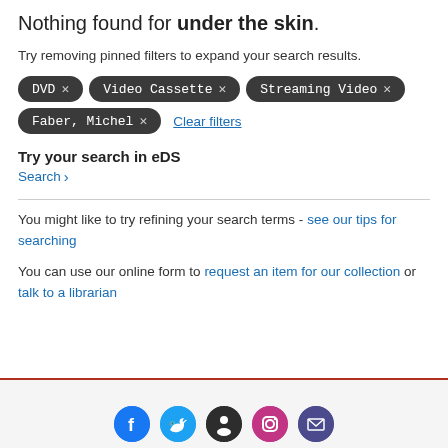Nothing found for under the skin.
Try removing pinned filters to expand your search results.
Filters: DVD x, Video Cassette x, Streaming Video x, Faber, Michel x
Try your search in eDS
Search ›
You might like to try refining your search terms - see our tips for searching
You can use our online form to request an item for our collection or talk to a librarian
[Figure (infographic): Social media icons: Facebook, Twitter, dark circle, Instagram, email]